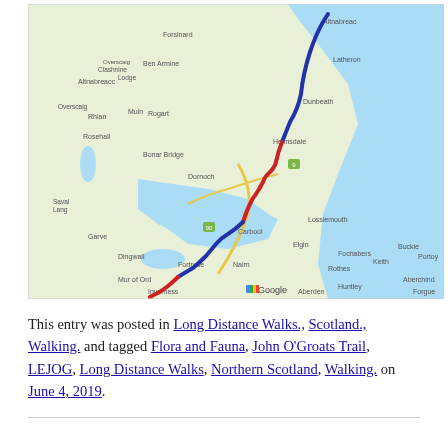[Figure (map): Google Map showing a walking route in northern Scotland with a red and dark blue line tracing from Inverness northward along the eastern coast toward John O'Groats, passing through places including Bonar Bridge, Dornoch, Helmsdale, and Dunbeath. The route follows the eastern Highland coast.]
This entry was posted in Long Distance Walks., Scotland., Walking. and tagged Flora and Fauna, John O'Groats Trail, LEJOG, Long Distance Walks, Northern Scotland, Walking. on June 4, 2019.